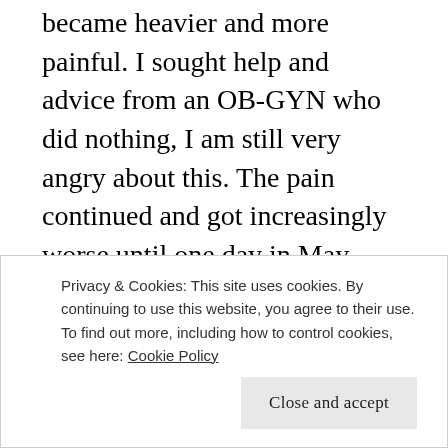became heavier and more painful. I sought help and advice from an OB-GYN who did nothing, I am still very angry about this. The pain continued and got increasingly worse until one day in May (2015) while I was at school I experienced an intense and sudden pain. I went to the ER where they told me I had an ovarian cyst rupture and that I had another one growing and should follow up with my OB-GYN. I decided to go see a different OB-GYN who was wonderful and finally listened to me. She suspected endometriosis. We set a date for laparoscopic surgery at the end of July 2015; on that date she removed an ovarian cyst the size of a tennis ball and confirmed it was an endometrioma and that I did in fact have
Privacy & Cookies: This site uses cookies. By continuing to use this website, you agree to their use.
To find out more, including how to control cookies, see here: Cookie Policy